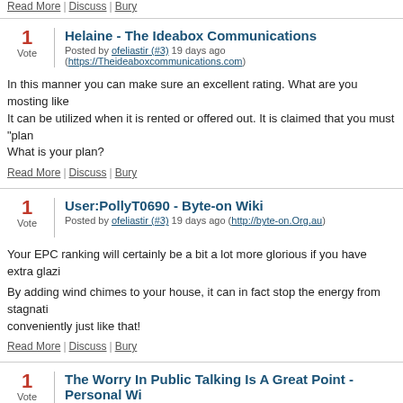Read More | Discuss | Bury
1 Vote | Helaine - The Ideabox Communications
Posted by ofeliastir (#3) 19 days ago (https://Theideaboxcommunications.com)
In this manner you can make sure an excellent rating. What are you mosting like... It can be utilized when it is rented or offered out. It is claimed that you must "plan... What is your plan?
Read More | Discuss | Bury
1 Vote | User:PollyT0690 - Byte-on Wiki
Posted by ofeliastir (#3) 19 days ago (http://byte-on.Org.au)
Your EPC ranking will certainly be a bit a lot more glorious if you have extra glazi...
By adding wind chimes to your house, it can in fact stop the energy from stagnati... conveniently just like that!
Read More | Discuss | Bury
1 Vote | The Worry In Public Talking Is A Great Point - Personal Wi...
Posted by ofeliastir (#3) 19 days ago (http://i-Pedia.org)
Your EPC ranking will be a bit a lot more wonderful if you have additional glazing. By including wind chimes to your home, it might in fact stop the energy from goin... rather quickly just like that!
Read More | Discuss | Bury